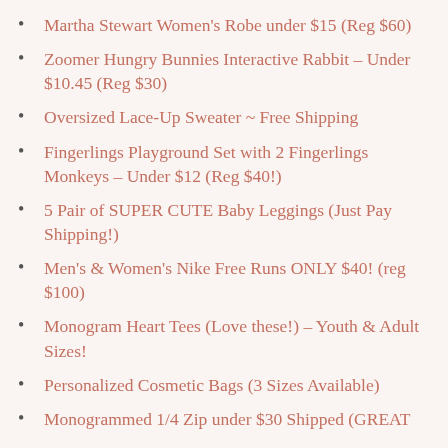Martha Stewart Women's Robe under $15 (Reg $60)
Zoomer Hungry Bunnies Interactive Rabbit – Under $10.45 (Reg $30)
Oversized Lace-Up Sweater ~ Free Shipping
Fingerlings Playground Set with 2 Fingerlings Monkeys – Under $12 (Reg $40!)
5 Pair of SUPER CUTE Baby Leggings (Just Pay Shipping!)
Men's & Women's Nike Free Runs ONLY $40! (reg $100)
Monogram Heart Tees (Love these!) – Youth & Adult Sizes!
Personalized Cosmetic Bags (3 Sizes Available)
Monogrammed 1/4 Zip under $30 Shipped (GREAT